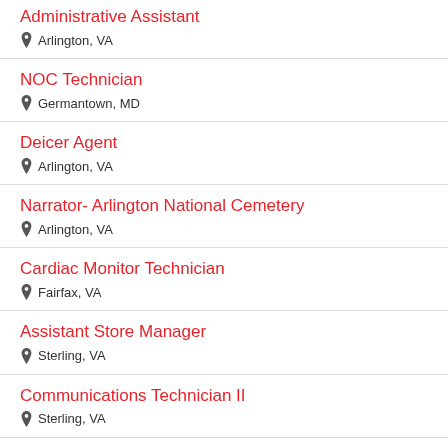Administrative Assistant
Arlington, VA
NOC Technician
Germantown, MD
Deicer Agent
Arlington, VA
Narrator- Arlington National Cemetery
Arlington, VA
Cardiac Monitor Technician
Fairfax, VA
Assistant Store Manager
Sterling, VA
Communications Technician II
Sterling, VA
Diesel/GSE Supervisor, DCA Airport